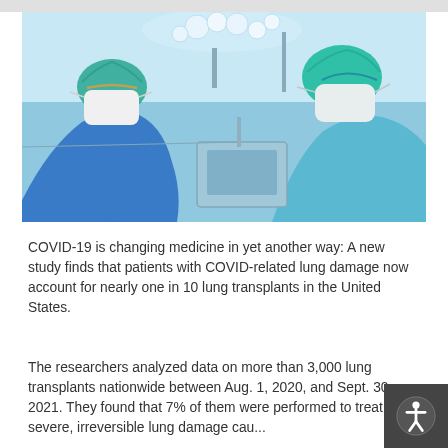[Figure (photo): Two surgeons in blue scrubs, green surgical caps and white face masks leaning over an operating table in a brightly lit operating room with surgical lights above.]
COVID-19 is changing medicine in yet another way: A new study finds that patients with COVID-related lung damage now account for nearly one in 10 lung transplants in the United States.
The researchers analyzed data on more than 3,000 lung transplants nationwide between Aug. 1, 2020, and Sept. 30, 2021. They found that 7% of them were performed to treat severe, irreversible lung damage cau...